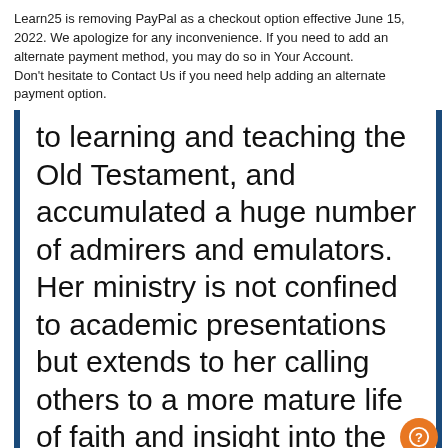Learn25 is removing PayPal as a checkout option effective June 15, 2022. We apologize for any inconvenience. If you need to add an alternate payment method, you may do so in Your Account. Don't hesitate to Contact Us if you need help adding an alternate payment option.
to learning and teaching the Old Testament, and accumulated a huge number of admirers and emulators. Her ministry is not confined to academic presentations but extends to her calling others to a more mature life of faith and insight into the workings of God in the world of creation." – Fr. Anthony J. Gittins, CSSp., Ph.D., Emeritus Professor of Theology and Culture, Catholic Theological Union